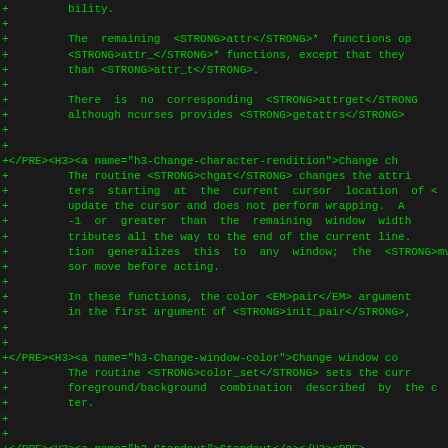Diff/patch output of source code showing HTML documentation markup for ncurses library functions including chgat, color_set, and standout routines.